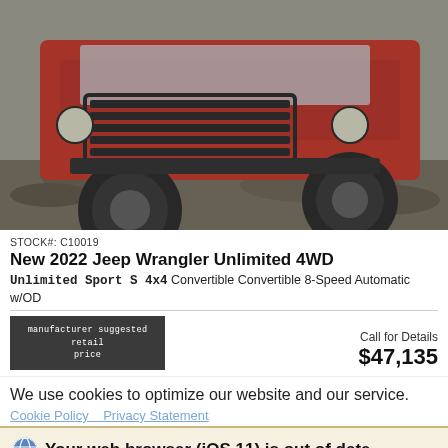[Figure (photo): Red Jeep Wrangler Unlimited on rocky terrain, showing front grille and off-road tires]
STOCK#: C10019
New 2022 Jeep Wrangler Unlimited 4WD
Unlimited Sport S 4x4 Convertible Convertible 8-Speed Automatic w/OD
manufacturer suggested retail price
Call for Details
$47,135
We use cookies to optimize our website and our service.
Cookie Policy   Privacy Statement
Your web browser (iOS 11) is out of date.
Messages   Location   Contact Us